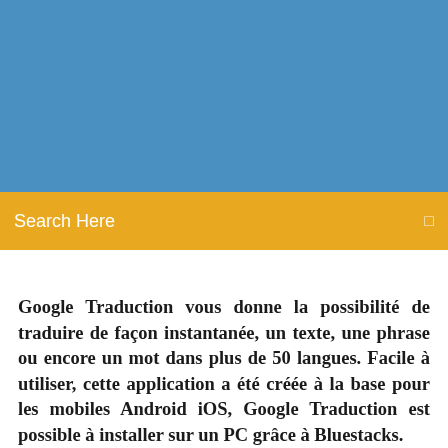[Figure (other): Blue banner background at the top of the page]
Search Here
Google Traduction vous donne la possibilité de traduire de façon instantanée, un texte, une phrase ou encore un mot dans plus de 50 langues. Facile à utiliser, cette application a été créée à la base pour les mobiles Android iOS, Google Traduction est possible à installer sur un PC grâce à Bluestacks.